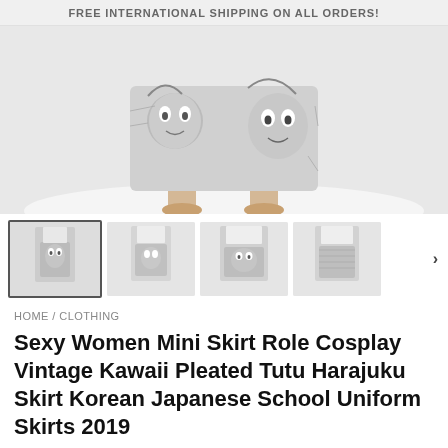FREE INTERNATIONAL SHIPPING ON ALL ORDERS!
[Figure (photo): Main product photo: close-up of a woman wearing a black-and-white anime-print mini skirt with manga character faces, displayed on a white background]
[Figure (photo): Four thumbnail images of the same anime-print mini skirt from different angles, with a right navigation arrow]
HOME / CLOTHING
Sexy Women Mini Skirt Role Cosplay Vintage Kawaii Pleated Tutu Harajuku Skirt Korean Japanese School Uniform Skirts 2019